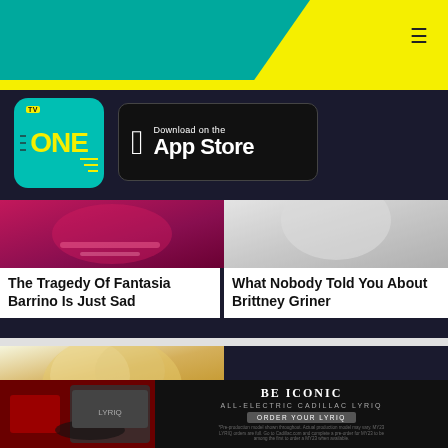TV One — Navigation header with hamburger menu
[Figure (logo): TV One logo — teal rounded square with ONE in yellow text]
[Figure (logo): Download on the App Store button — black rounded rectangle with Apple icon]
[Figure (photo): Partial face photo of Fantasia Barrino with pink accessories]
The Tragedy Of Fantasia Barrino Is Just Sad
[Figure (photo): Partial face photo of Brittney Griner]
What Nobody Told You About Brittney Griner
[Figure (photo): Partial face photo of blonde woman]
[Figure (photo): Partial face photo of man with long blonde hair, CLOSE button overlay]
[Figure (photo): Cadillac LYRIQ advertisement — BE ICONIC ALL-ELECTRIC CADILLAC LYRIQ ORDER YOUR LYRIQ]